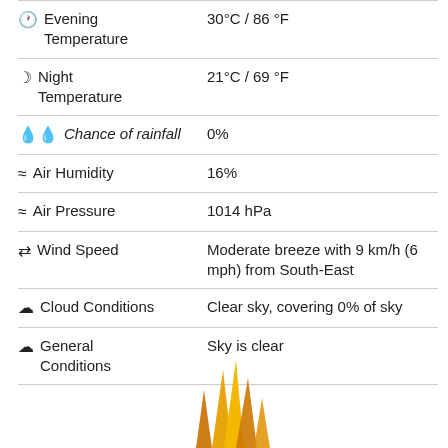| Category | Value |
| --- | --- |
| 🕐 Evening Temperature | 30°C / 86 °F |
| ☽ Night Temperature | 21°C / 69 °F |
| 💧 Chance of rainfall | 0% |
| ≈ Air Humidity | 16% |
| ≈ Air Pressure | 1014 hPa |
| ⇒ Wind Speed | Moderate breeze with 9 km/h (6 mph) from South-East |
| ☁ Cloud Conditions | Clear sky, covering 0% of sky |
| ☁ General Conditions | Sky is clear |
[Figure (illustration): Decorative sun/flame illustration at the bottom of the page, showing stylized orange and yellow flame or sun rays]